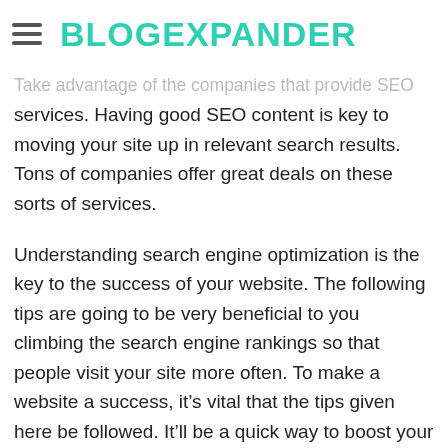BLOGEXPANDER
site favorably. This can translate into less business.
Take advantage of the companies that provide SEO services. Having good SEO content is key to moving your site up in relevant search results. Tons of companies offer great deals on these sorts of services.
Understanding search engine optimization is the key to the success of your website. The following tips are going to be very beneficial to you climbing the search engine rankings so that people visit your site more often. To make a website a success, it’s vital that the tips given here be followed. It’ll be a quick way to boost your site’s popularity.